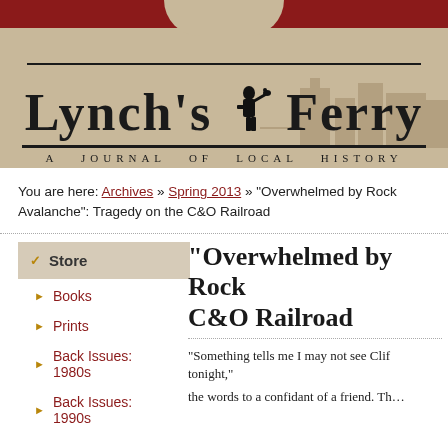[Figure (logo): Lynch's Ferry — A Journal of Local History masthead banner with sepia-toned historical illustration background, dark red top bar, and bold serif title text with a silhouette figure]
You are here: Archives » Spring 2013 » "Overwhelmed by Rock Avalanche": Tragedy on the C&O Railroad
Store
Books
Prints
Back Issues: 1980s
Back Issues: 1990s
"Overwhelmed by Rock... C&O Railroad
"Something tells me I may not see Clif... tonight,"
the words to a confidant of a friend. Th...